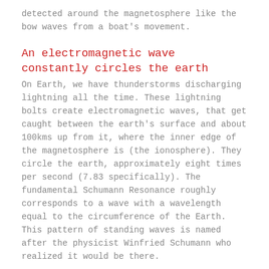detected around the magnetosphere like the bow waves from a boat's movement.
An electromagnetic wave constantly circles the earth
On Earth, we have thunderstorms discharging lightning all the time. These lightning bolts create electromagnetic waves, that get caught between the earth's surface and about 100kms up from it, where the inner edge of the magnetosphere is (the ionosphere). They circle the earth, approximately eight times per second (7.83 specifically). The fundamental Schumann Resonance roughly corresponds to a wave with a wavelength equal to the circumference of the Earth. This pattern of standing waves is named after the physicist Winfried Schumann who realized it would be there.
It is a little confusing, but the Schumann